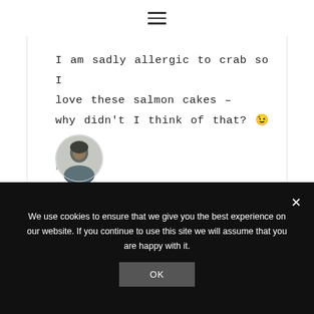☰
I am sadly allergic to crab so I love these salmon cakes – why didn't I think of that? 😉
Reply
[Figure (photo): Circular avatar photo of a person with dark hair outdoors]
We use cookies to ensure that we give you the best experience on our website. If you continue to use this site we will assume that you are happy with it.
OK